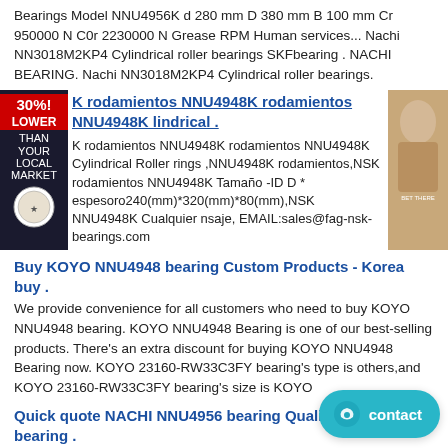Bearings Model NNU4956K d 280 mm D 380 mm B 100 mm Cr 950000 N C0r 2230000 N Grease RPM Human services... Nachi NN3018M2KP4 Cylindrical roller bearings SKFbearing . NACHI BEARING. Nachi NN3018M2KP4 Cylindrical roller bearings.
K rodamientos NNU4948K rodamientos NNU4948K lindrical .
K rodamientos NNU4948K rodamientos NNU4948K Cylindrical Roller rings ,NNU4948K rodamientos,NSK rodamientos NNU4948K Tamaño -ID D * espesoro240(mm)*320(mm)*80(mm),NSK NNU4948K Cualquier nsaje, EMAIL:sales@fag-nsk-bearings.com
Buy KOYO NNU4948 bearing Custom Products - Korea buy .
We provide convenience for all customers who need to buy KOYO NNU4948 bearing. KOYO NNU4948 Bearing is one of our best-selling products. There's an extra discount for buying KOYO NNU4948 Bearing now. KOYO 23160-RW33C3FY bearing's type is others,and KOYO 23160-RW33C3FY bearing's size is KOYO
Quick quote NACHI NNU4956 bearing Quality NNU4956 bearing .
Our quality NACHI NNU4956 bearing is top in the world. inventory now. Delivery time: 5-7days. NACHI NNU4936 bearing NACHI